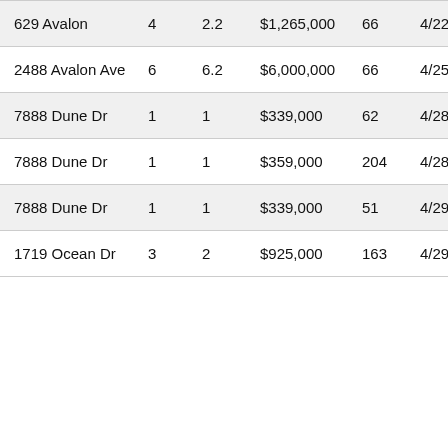| Address | Beds | Baths | Price | Days | Date |
| --- | --- | --- | --- | --- | --- |
| 629 Avalon | 4 | 2.2 | $1,265,000 | 66 | 4/22/20… |
| 2488 Avalon Ave | 6 | 6.2 | $6,000,000 | 66 | 4/25/20… |
| 7888 Dune Dr | 1 | 1 | $339,000 | 62 | 4/28/20… |
| 7888 Dune Dr | 1 | 1 | $359,000 | 204 | 4/28/20… |
| 7888 Dune Dr | 1 | 1 | $339,000 | 51 | 4/29/20… |
| 1719 Ocean Dr | 3 | 2 | $925,000 | 163 | 4/29/20… |